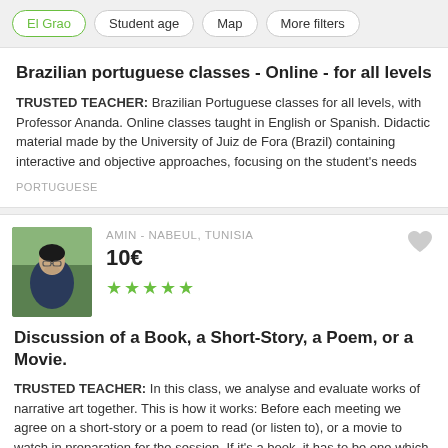El Grao | Student age | Map | More filters
Brazilian portuguese classes - Online - for all levels
TRUSTED TEACHER: Brazilian Portuguese classes for all levels, with Professor Ananda. Online classes taught in English or Spanish. Didactic material made by the University of Juiz de Fora (Brazil) containing interactive and objective approaches, focusing on the student's needs
PORTUGUESE
AMIN - NABEUL, TUNISIA
10€
★★★★★
Discussion of a Book, a Short-Story, a Poem, or a Movie.
TRUSTED TEACHER: In this class, we analyse and evaluate works of narrative art together. This is how it works: Before each meeting we agree on a short-story or a poem to read (or listen to), or a movie to watch in preparation for the session. If it's a book, it has to be one which we've
LITERATURE · ESSAY WRITING · CREATIVE WRITING